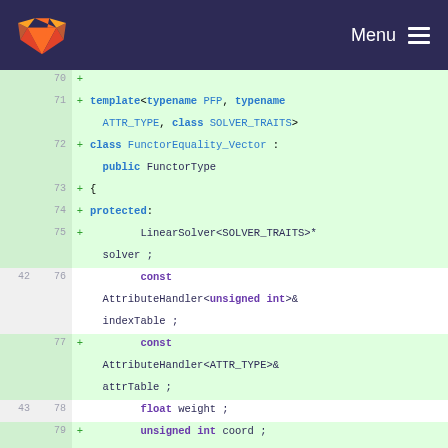GitLab Menu
[Figure (screenshot): Code diff view showing C++ template class FunctorEquality_Vector definition, lines 70-82, with added lines marked with +]
70 +
71 + template<typename PFP, typename ATTR_TYPE, class SOLVER_TRAITS>
72 + class FunctorEquality_Vector : public FunctorType
73 + {
74 + protected:
75 +     LinearSolver<SOLVER_TRAITS>* solver ;
42 76     const AttributeHandler<unsigned int>& indexTable ;
77 +     const AttributeHandler<ATTR_TYPE>& attrTable ;
43 78     float weight ;
79 +     unsigned int coord ;
80 +
81 + public:
82 +     FunctorEquality_Vector(